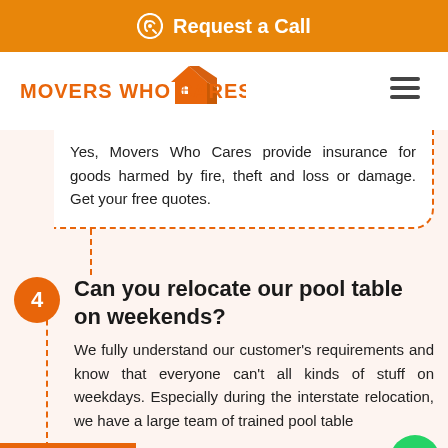Request a Call
[Figure (logo): Movers Who Cares logo with house icon]
Yes, Movers Who Cares provide insurance for goods harmed by fire, theft and loss or damage. Get your free quotes.
4  Can you relocate our pool table on weekends?
We fully understand our customer's requirements and know that everyone can't all kinds of stuff on weekdays. Especially during the interstate relocation, we have a large team of trained pool table